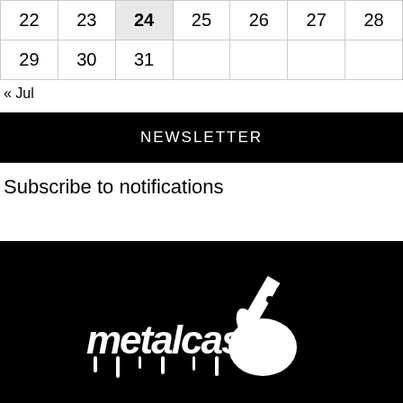| 22 | 23 | 24 | 25 | 26 | 27 | 28 |
| 29 | 30 | 31 |  |  |  |  |
« Jul
NEWSLETTER
Subscribe to notifications
[Figure (logo): Metalcastle logo in white on black background — stylized graffiti text 'metalcastle' with a hand holding a guitar neck graphic]